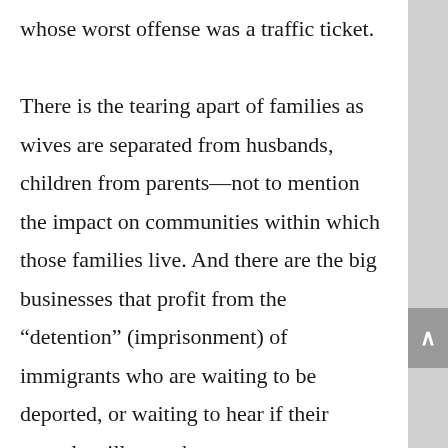whose worst offense was a traffic ticket. There is the tearing apart of families as wives are separated from husbands, children from parents—not to mention the impact on communities within which those families live. And there are the big businesses that profit from the “detention” (imprisonment) of immigrants who are waiting to be deported, or waiting to hear if their appeals will save them. A recent story in the Washington Post puts